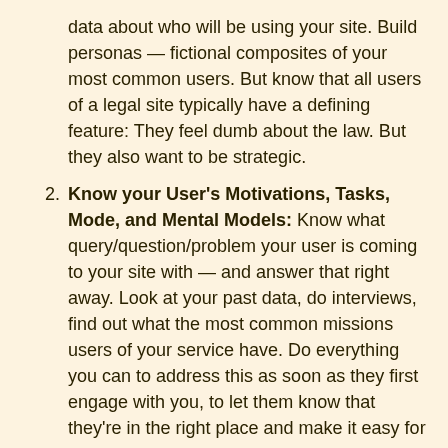data about who will be using your site. Build personas — fictional composites of your most common users. But know that all users of a legal site typically have a defining feature: They feel dumb about the law. But they also want to be strategic.
Know your User's Motivations, Tasks, Mode, and Mental Models: Know what query/question/problem your user is coming to your site with — and answer that right away. Look at your past data, do interviews, find out what the most common missions users of your service have. Do everything you can to address this as soon as they first engage with you, to let them know that they're in the right place and make it easy for them to get their motive satisfied.